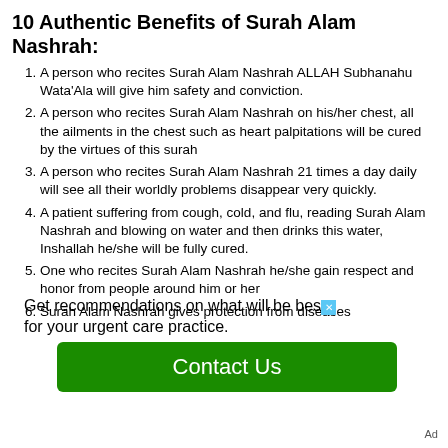10 Authentic Benefits of Surah Alam Nashrah:
A person who recites Surah Alam Nashrah ALLAH Subhanahu Wata'Ala will give him safety and conviction.
A person who recites Surah Alam Nashrah on his/her chest, all the ailments in the chest such as heart palpitations will be cured by the virtues of this surah
A person who recites Surah Alam Nashrah 21 times a day daily will see all their worldly problems disappear very quickly.
A patient suffering from cough, cold, and flu, reading Surah Alam Nashrah and blowing on water and then drinks this water, Inshallah he/she will be fully cured.
One who recites Surah Alam Nashrah he/she gain respect and honor from people around him or her
Surah Alam Nashrah gives protection from diseases
Get recommendations on what will be best for your urgent care practice.
Contact Us
Ad